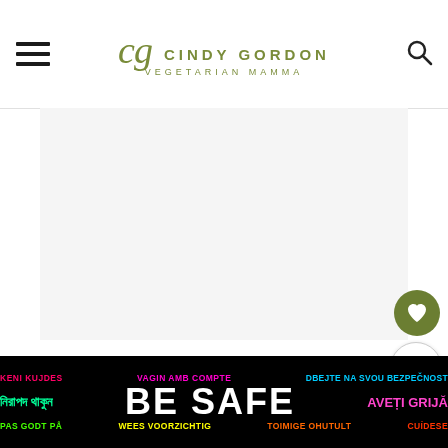cg CINDY GORDON VEGETARIAN MAMMA
[Figure (photo): Large white/blank content image area placeholder]
These numbered steps match numbered photos above and are for illustration purposes. For the...
[Figure (infographic): BE SAFE multilingual ad banner with text in multiple languages including: KENI KUJDES, VAGIN AMB COMPTE, DBEJTE NA SVOU BEZPECNOST, নিরাপদ থাকুন, BE SAFE, AVETI GRIJA, PAS GODT PA, WEES VOORZICHTIG, TOIMIGE OHUTULT, CUIDESE]